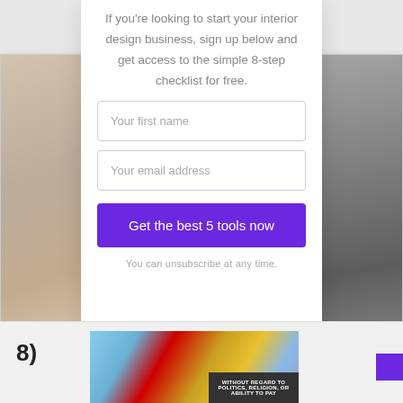If you're looking to start your interior design business, sign up below and get access to the simple 8-step checklist for free.
Your first name
Your email address
Get the best 5 tools now
You can unsubscribe at any time.
8)
[Figure (photo): Advertisement banner showing an airplane being loaded with cargo, with text 'WITHOUT REGARD TO POLITICS, RELIGION, OR ABILITY TO PAY']